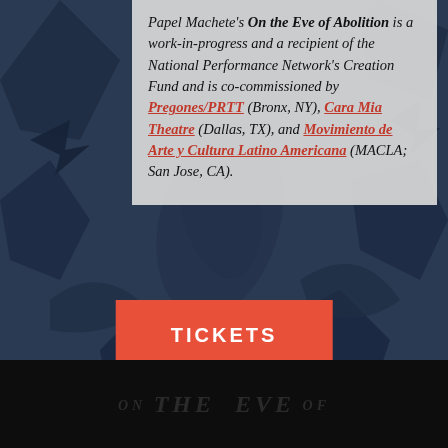[Figure (illustration): Dark navy blue background with paper cutout style decorative shapes and figures, resembling folk art paper craft silhouettes in darker blue tones against the navy background.]
Papel Machete's On the Eve of Abolition is a work-in-progress and a recipient of the National Performance Network's Creation Fund and is co-commissioned by Pregones/PRTT (Bronx, NY), Cara Mia Theatre (Dallas, TX), and Movimiento de Arte y Cultura Latino Americana (MACLA; San Jose, CA).
TICKETS
ON THE EVE OF